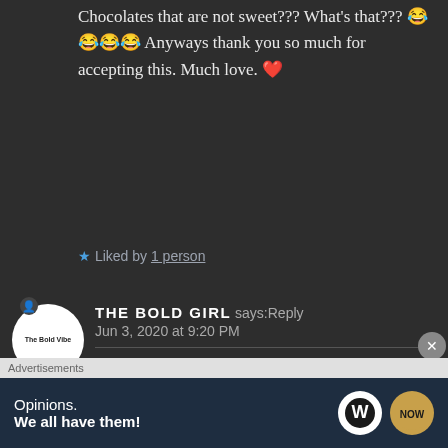Chocolates that are not sweet??? What's that??? 😂😂😂😂 Anyways thank you so much for accepting this. Much love. ❤
★ Liked by 1 person
THE BOLD GIRL says: Reply
Jun 3, 2020 at 9:20 PM
🤔🤔🤔 I said chocolates that are not way too sweet.🙂 Like the ones which will make you
Advertisements
Opinions. We all have them!